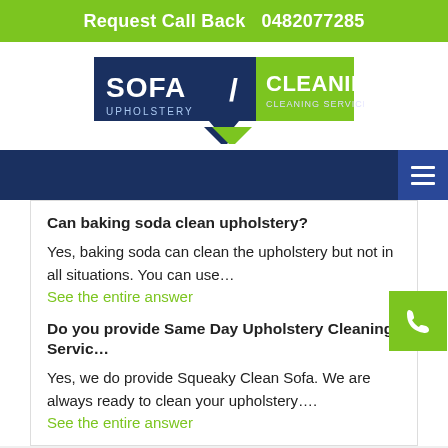Request Call Back   0482077285
[Figure (logo): Sofa Cleaning Upholstery Cleaning Services logo with navy background and green text]
Can baking soda clean upholstery?
Yes, baking soda can clean the upholstery but not in all situations. You can use...
See the entire answer
Do you provide Same Day Upholstery Cleaning Servic…
Yes, we do provide Squeaky Clean Sofa. We are always ready to clean your upholstery....
See the entire answer
We Accept